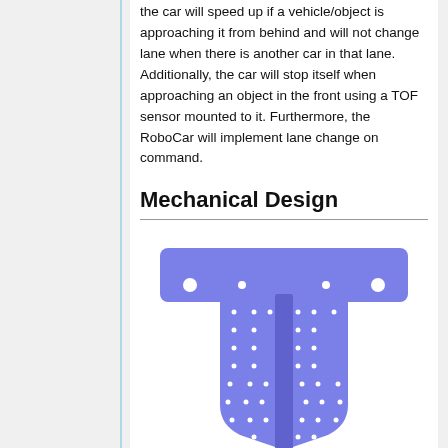the car will speed up if a vehicle/object is approaching it from behind and will not change lane when there is another car in that lane. Additionally, the car will stop itself when approaching an object in the front using a TOF sensor mounted to it. Furthermore, the RoboCar will implement lane change on command.
Mechanical Design
[Figure (illustration): Top-down schematic illustration of a RoboCar chassis plate. The shape is a T-like or shield form: wide rectangular section at the top (like a crossbar) and a narrower body tapering toward the bottom with rounded lower corners. The plate is filled in medium blue/periwinkle. A darker blue vertical stripe runs down the center of the main body section. Multiple small white dots (holes) are arranged in a grid pattern across the body, and four white circles appear near the corners of the upper crossbar region.]